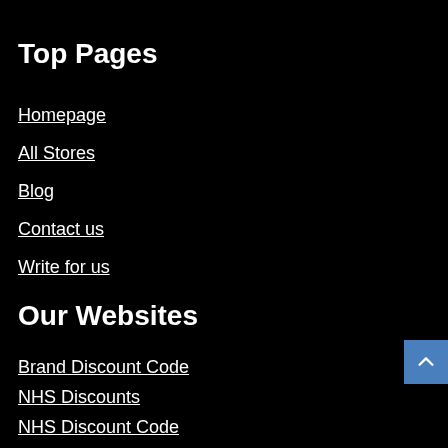Top Pages
Homepage
All Stores
Blog
Contact us
Write for us
Our Websites
Brand Discount Code
NHS Discounts
NHS Discount Code
Voucher Code NHS
Write for us
Vintage Logo